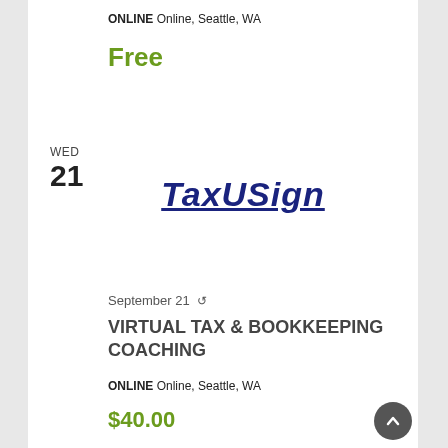ONLINE Online, Seattle, WA
Free
WED 21
[Figure (logo): TaxUSign logo in dark blue bold italic underlined text]
September 21 ↺
VIRTUAL TAX & BOOKKEEPING COACHING
ONLINE Online, Seattle, WA
$40.00